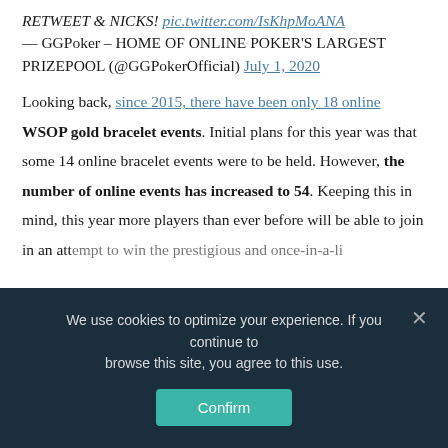RETWEET & NICKS! pic.twitter.com/IsKhpMoANA — GGPoker – HOME OF ONLINE POKER'S LARGEST PRIZEPOOL (@GGPokerOfficial) July 1, 2020
Looking back, since 2015, there have been only 18 online WSOP gold bracelet events. Initial plans for this year was that some 14 online bracelet events were to be held. However, the number of online events has increased to 54. Keeping this in mind, this year more players than ever before will be able to join in an attempt to win the prestigious and once-in-a-lifetime
We use cookies to optimize your experience. If you continue to browse this site, you agree to this use.